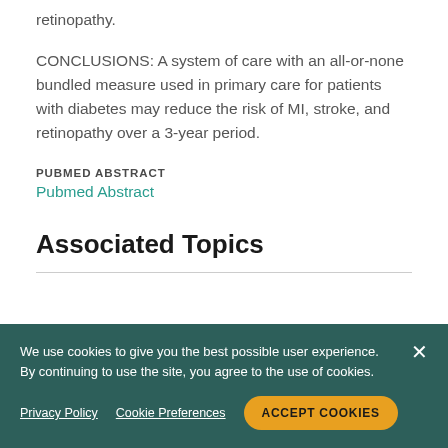retinopathy.
CONCLUSIONS: A system of care with an all-or-none bundled measure used in primary care for patients with diabetes may reduce the risk of MI, stroke, and retinopathy over a 3-year period.
PUBMED ABSTRACT
Pubmed Abstract
Associated Topics
We use cookies to give you the best possible user experience. By continuing to use the site, you agree to the use of cookies.

Privacy Policy   Cookie Preferences   ACCEPT COOKIES